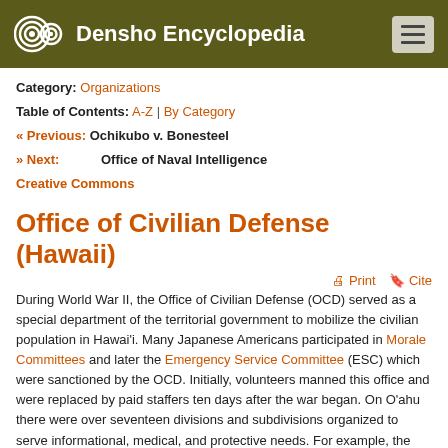Densho Encyclopedia
Category: Organizations
Table of Contents: A-Z | By Category
« Previous: Ochikubo v. Bonesteel
» Next: Office of Naval Intelligence
Creative Commons
Office of Civilian Defense (Hawaii)
Print  Cite
During World War II, the Office of Civilian Defense (OCD) served as a special department of the territorial government to mobilize the civilian population in Hawai'i. Many Japanese Americans participated in Morale Committees and later the Emergency Service Committee (ESC) which were sanctioned by the OCD. Initially, volunteers manned this office and were replaced by paid staffers ten days after the war began. On O'ahu there were over seventeen divisions and subdivisions organized to serve informational, medical, and protective needs. For example, the organization of air raid wardens, transportation, demolition and repair, communication, evacuation, and emergency medical services were under the jurisdiction of the OCD. [1] On the neighbor islands, the OCD had fewer divisions but greater responsibilities as the OCD was the major administrative agency of the